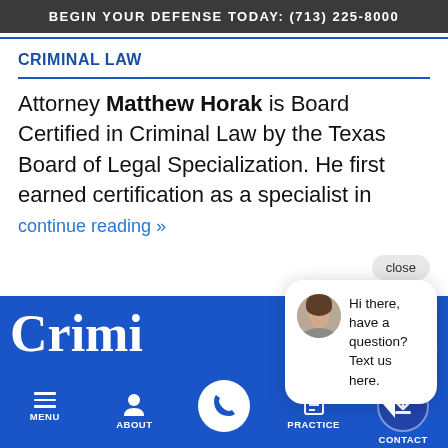BEGIN YOUR DEFENSE TODAY: (713) 225-8000
CRIMINAL LAW
Attorney Matthew Horak is Board Certified in Criminal Law by the Texas Board of Legal Specialization. He first earned certification as a specialist in
continue reading »
close
[Figure (screenshot): Chat widget popup with avatar of a woman and text: Hi there, have a question? Text us here.]
Crimi
Texas
MENU  ABOUT  PRACTICE  CONTACT